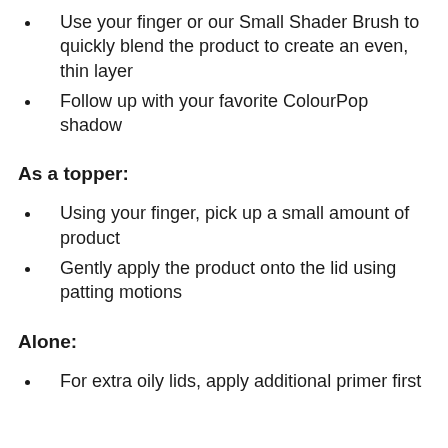Use your finger or our Small Shader Brush to quickly blend the product to create an even, thin layer
Follow up with your favorite ColourPop shadow
As a topper:
Using your finger, pick up a small amount of product
Gently apply the product onto the lid using patting motions
Alone:
For extra oily lids, apply additional primer first